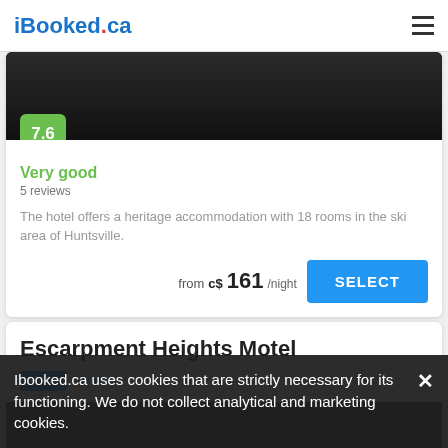iBooked.ca
[Figure (photo): Dark hotel exterior photo used as card header image with green rating badge showing 7.6]
Very good
5 reviews
The hotel offers a heritage accommodation with 18 rooms in the ski area of Huntsville.
from  c$ 161 /night
SELECT
Escarpment Heights Motel
Motel ★★
[Figure (photo): Partial photo of Escarpment Heights Motel exterior sign]
Ibooked.ca uses cookies that are strictly necessary for its functioning. We do not collect analytical and marketing cookies.